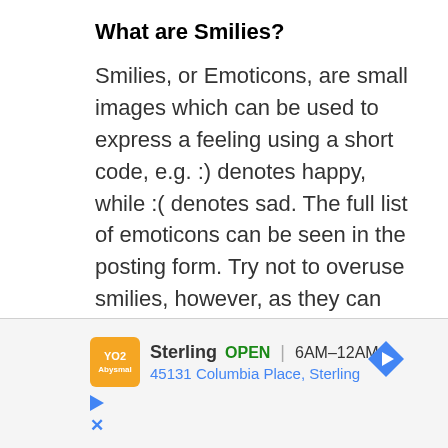What are Smilies?
Smilies, or Emoticons, are small images which can be used to express a feeling using a short code, e.g. :) denotes happy, while :( denotes sad. The full list of emoticons can be seen in the posting form. Try not to overuse smilies, however, as they can quickly render a post unreadable and a moderator may edit them out or remove
[Figure (other): Advertisement banner for Sterling store: logo with 'YO2' text on orange background, showing name 'Sterling', status 'OPEN', hours '6AM-12AM', address '45131 Columbia Place, Sterling', navigation arrow icon, and ad control buttons (play/close)]